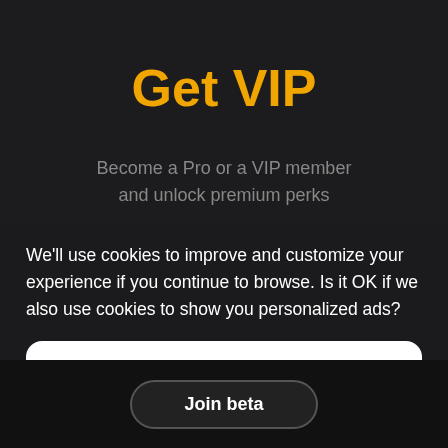Get VIP
Become a Pro or a VIP member
and unlock premium perks
We'll use cookies to improve and customize your experience if you continue to browse. Is it OK if we also use cookies to show you personalized ads?
Yes, Accept Cookies
Get access to the next version of Simkl v2
Join beta